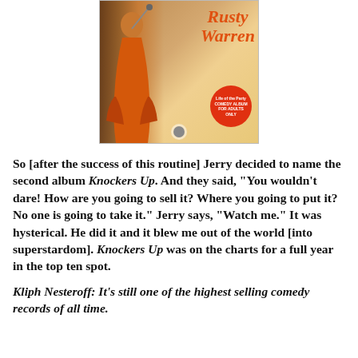[Figure (photo): Album cover for Rusty Warren 'Life of the Party' comedy album, showing a woman in an orange/red dress with orange stylized text reading 'Rusty Warren' and a red circular badge.]
So [after the success of this routine] Jerry decided to name the second album Knockers Up. And they said, "You wouldn't dare! How are you going to sell it? Where you going to put it? No one is going to take it." Jerry says, "Watch me." It was hysterical. He did it and it blew me out of the world [into superstardom]. Knockers Up was on the charts for a full year in the top ten spot.
Kliph Nesteroff: It's still one of the highest selling comedy records of all time.